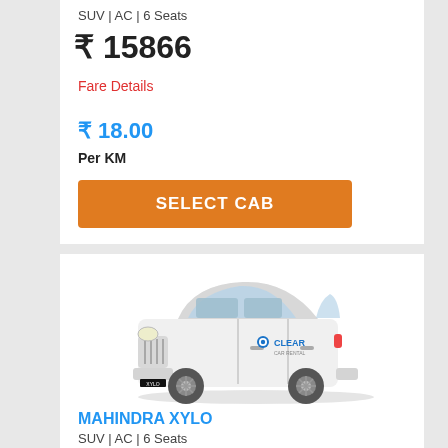SUV | AC | 6 Seats
₹ 15866
Fare Details
₹ 18.00
Per KM
SELECT CAB
[Figure (photo): White Mahindra Xylo SUV with Clear Car Rental branding on the side]
MAHINDRA XYLO
SUV | AC | 6 Seats
₹ 15866